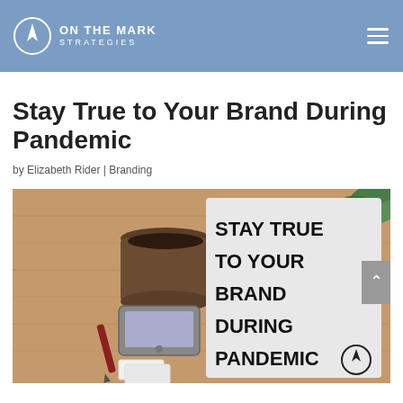ON THE MARK STRATEGIES
Stay True to Your Brand During Pandemic
by Elizabeth Rider | Branding
[Figure (photo): Desk scene with coffee mug, smartphone, pen, and business cards on a wooden table, with a sign reading STAY TRUE TO YOUR BRAND DURING PANDEMIC and the On The Mark Strategies logo]